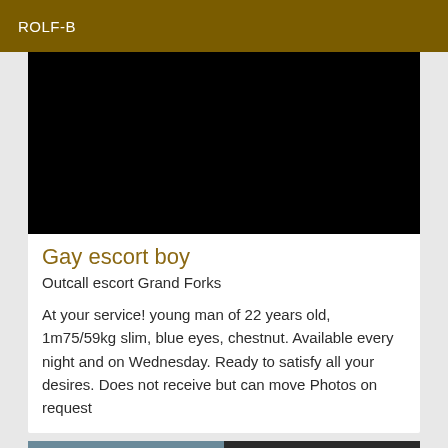ROLF-B
[Figure (photo): Black/dark photo image, mostly black]
Gay escort boy
Outcall escort Grand Forks
At your service! young man of 22 years old, 1m75/59kg slim, blue eyes, chestnut. Available every night and on Wednesday. Ready to satisfy all your desires. Does not receive but can move Photos on request
[Figure (photo): Partial photo visible at bottom of page]